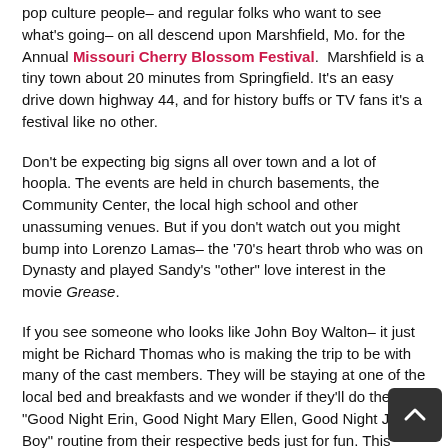pop culture people– and regular folks who want to see what's going– on all descend upon Marshfield, Mo. for the Annual Missouri Cherry Blossom Festival. Marshfield is a tiny town about 20 minutes from Springfield. It's an easy drive down highway 44, and for history buffs or TV fans it's a festival like no other.
Don't be expecting big signs all over town and a lot of hoopla. The events are held in church basements, the Community Center, the local high school and other unassuming venues. But if you don't watch out you might bump into Lorenzo Lamas– the '70's heart throb who was on Dynasty and played Sandy's "other" love interest in the movie Grease.
If you see someone who looks like John Boy Walton– it just might be Richard Thomas who is making the trip to be with many of the cast members. They will be staying at one of the local bed and breakfasts and we wonder if they'll do the "Good Night Erin, Good Night Mary Ellen, Good Night John Boy" routine from their respective beds just for fun. This year's festival will be all about The Waltons.
[Figure (other): Dark scroll-to-top button with upward chevron arrow, positioned bottom-right corner]